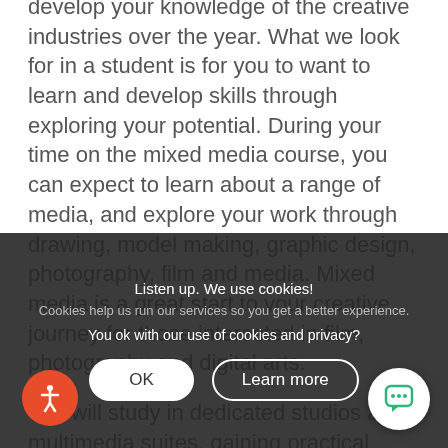develop your knowledge of the creative industries over the year. What we look for in a student is for you to want to learn and develop skills through exploring your potential. During your time on the mixed media course, you can expect to learn about a range of media, and explore your work through drawing, model making, graphic design, photography, film and media. Mixed media is a great start to your creative journey for those interested in film, photography and digital arts.
You will study in dedicated studios and multimedia suites, gaining practical experience of using a wide range of materials and techniques. You will study the foundation skills of art and design, such as exploring formal elements and generating observational drawings. The course aims to develop your contextual knowledge to enable you to appreciate the work of other artists and to find your
Listen up. We use cookies!
Cookies help us run our services so you get a better experience.
You ok with our use of cookies and privacy?